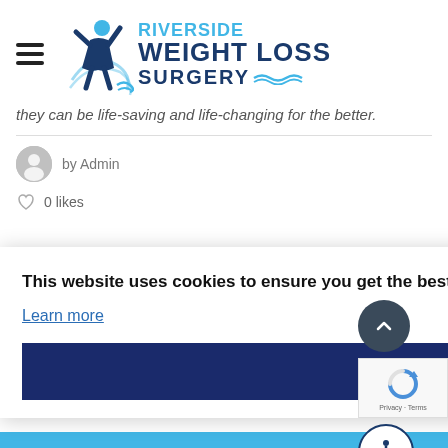[Figure (logo): Riverside Weight Loss Surgery logo with hamburger menu icon, figure icon, and blue/navy text]
they can be life-saving and life-changing for the better.
by Admin
0 likes
This website uses cookies to ensure you get the best experience on our website.
Learn more
Accept